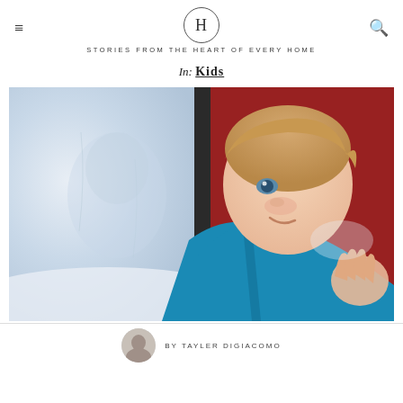H — STORIES FROM THE HEART OF EVERY HOME
In: Kids
[Figure (photo): A young smiling boy in a bright teal/blue winter jacket looking out a window, with his reflection visible in the glass and a blurred snowy landscape outside.]
BY TAYLER DIGIACOMO